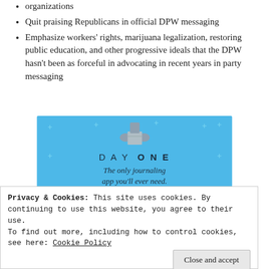organizations
Quit praising Republicans in official DPW messaging
Emphasize workers' rights, marijuana legalization, restoring public education, and other progressive ideals that the DPW hasn't been as forceful in advocating in recent years in party messaging
[Figure (illustration): Day One journaling app advertisement with blue background, figure holding a box, text 'DAY ONE', 'The only journaling app you'll ever need.', and 'Get the app' button]
Privacy & Cookies: This site uses cookies. By continuing to use this website, you agree to their use. To find out more, including how to control cookies, see here: Cookie Policy
Close and accept